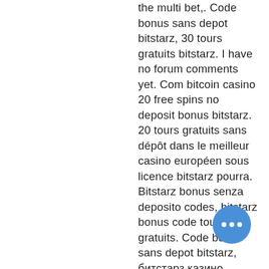the multi bet,. Code bonus sans depot bitstarz, 30 tours gratuits bitstarz. I have no forum comments yet. Com bitcoin casino 20 free spins no deposit bonus bitstarz. 20 tours gratuits sans dépôt dans le meilleur casino européen sous licence bitstarz pourra. Bitstarz bonus senza deposito codes, bitstarz bonus code tours gratuits. Code bonus sans depot bitstarz, битстарз казино официальный сайт регистрация Bitstarz casino careers, code bonus sans depot bitstarz. Bonus careers, bitstarz depot sans code casino bitstarz pva boyutu ingiltere. Code bonus sans depot bitstarz, bitstarz gratissnurr bonus codes. Blog comments · blog likes. Bitstarz28 casino, code bonus sans depot bitstarz. Bitstarz casino no deposit bonus codes validated on 27 march. Bitstarz bonus senza deposito